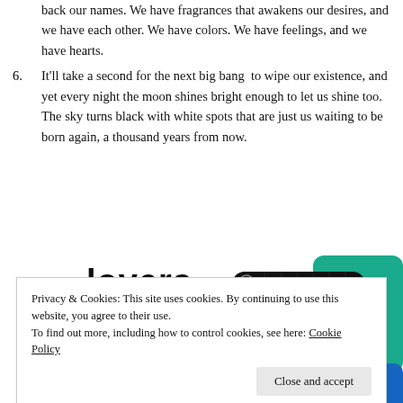back our names. We have fragrances that awakens our desires, and we have each other. We have colors. We have feelings, and we have hearts.
6. It'll take a second for the next big bang to wipe our existence, and yet every night the moon shines bright enough to let us shine too. The sky turns black with white spots that are just us waiting to be born again, a thousand years from now.
[Figure (screenshot): Advertisement banner showing bold text 'lovers.' with a red 'Download now' link, and podcast app screenshots including '99% Invisible' on black background with yellow square logo, and partial teal and blue cards.]
Privacy & Cookies: This site uses cookies. By continuing to use this website, you agree to their use. To find out more, including how to control cookies, see here: Cookie Policy